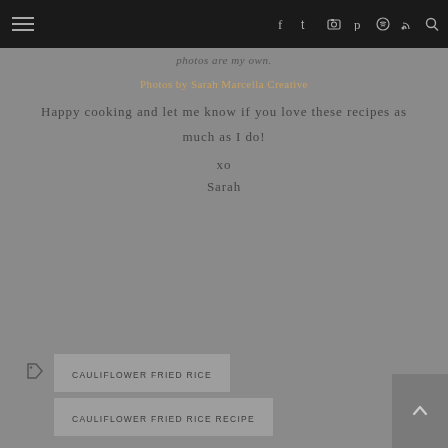Navigation bar with hamburger menu and social icons
photos are my own.
Photos by Sarah Marcella Creative
Happy cooking and let me know if you love these recipes as much as I do!
xo
Sarah
CAULIFLOWER FRIED RICE
CAULIFLOWER FRIED RICE RECIPE